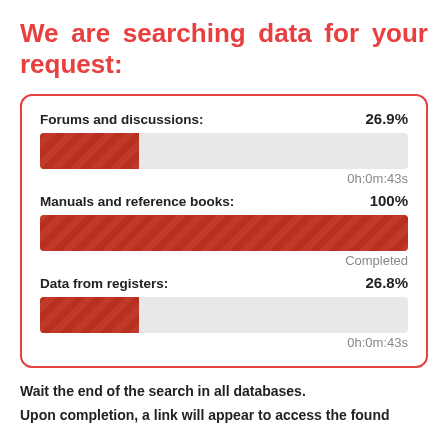We are searching data for your request:
[Figure (bar-chart): Search progress]
Wait the end of the search in all databases.
Upon completion, a link will appear to access the found